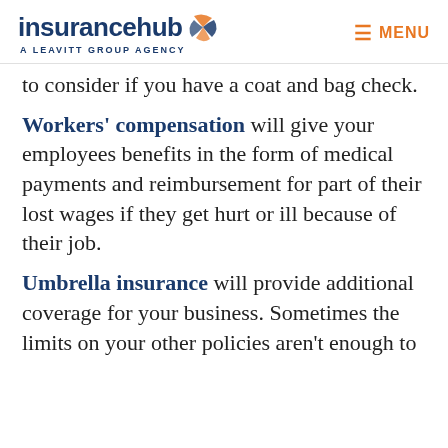insurancehub — A LEAVITT GROUP AGENCY | MENU
to consider if you have a coat and bag check.
Workers' compensation will give your employees benefits in the form of medical payments and reimbursement for part of their lost wages if they get hurt or ill because of their job.
Umbrella insurance will provide additional coverage for your business. Sometimes the limits on your other policies aren't enough to